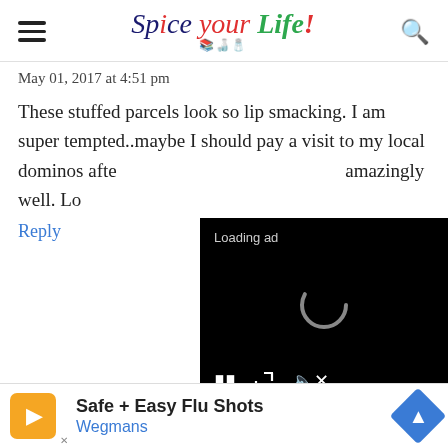Spice your Life!
May 01, 2017 at 4:51 pm
These stuffed parcels look so lip smacking. I am super tempted..maybe I should pay a visit to my local dominos after all. You photograph the food amazingly well. Lo
Reply
[Figure (screenshot): Video ad overlay with 'Loading ad' text, spinner, and playback controls on black background]
Priya Suresh says
May 01, 2017 at 8:49 pm
[Figure (infographic): Advertisement banner: Safe + Easy Flu Shots - Wegmans]